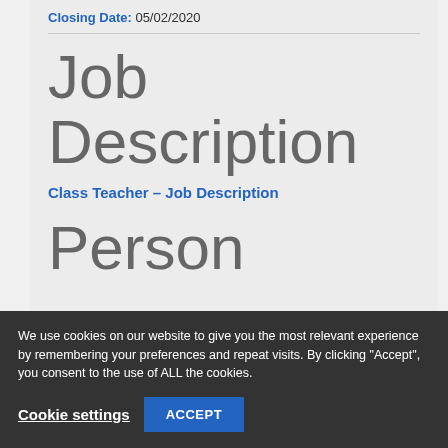Closing Date: 05/02/2020
Job Description
Class Teacher – Job Description
Person
We use cookies on our website to give you the most relevant experience by remembering your preferences and repeat visits. By clicking "Accept", you consent to the use of ALL the cookies.
Cookie settings
ACCEPT